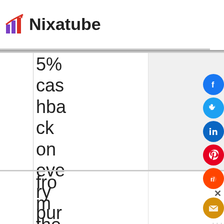Nixatube
5% cashback on every purchase from the Inte